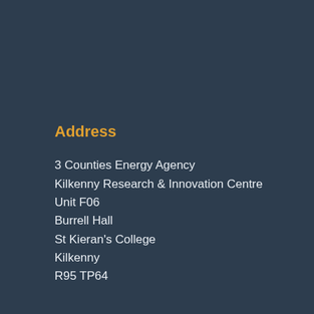Address
3 Counties Energy Agency
Kilkenny Research & Innovation Centre
Unit F06
Burrell Hall
St Kieran's College
Kilkenny
R95 TP64